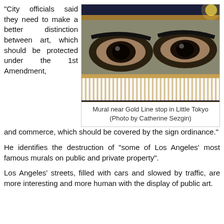"City officials said they need to make a better distinction between art, which should be protected under the 1st Amendment, and commerce, which should be covered by the sign ordinance."
[Figure (photo): Mural near Gold Line stop in Little Tokyo showing large eyes painted on a building wall with a white fence in front, photographed at night with yellow street lighting.]
Mural near Gold Line stop in Little Tokyo (Photo by Catherine Sezgin)
He identifies the destruction of "some of Los Angeles' most famous murals on public and private property".
Los Angeles' streets, filled with cars and slowed by traffic, are more interesting and more human with the display of public art.